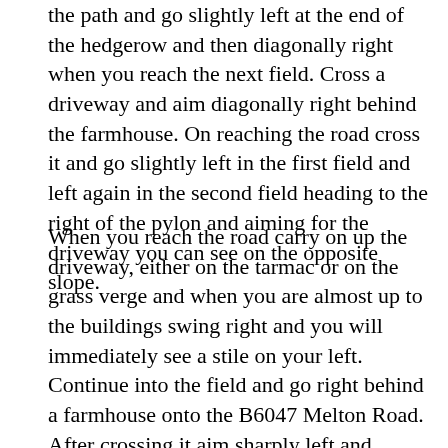the path and go slightly left at the end of the hedgerow and then diagonally right when you reach the next field. Cross a driveway and aim diagonally right behind the farmhouse. On reaching the road cross it and go slightly left in the first field and left again in the second field heading to the right of the pylon and aiming for the driveway you can see on the opposite slope.
When you reach the road carry on up the driveway, either on the tarmac or on the grass verge and when you are almost up to the buildings swing right and you will immediately see a stile on your left. Continue into the field and go right behind a farmhouse onto the B6047 Melton Road. After crossing it aim sharply left and eventually you will cross Green lane. Carry on down the bridleway until you reach a rather muddy path which takes you to the side of a wood. Continue in the same southerly direction and when you reach Billesdon Lodge Farm turn right along the track and then left into an enclosure as indicated by a yellow post. Up the right -hand side of it, walk through two fields and then sharp left when into the third field. Continue until you reach the A47 road